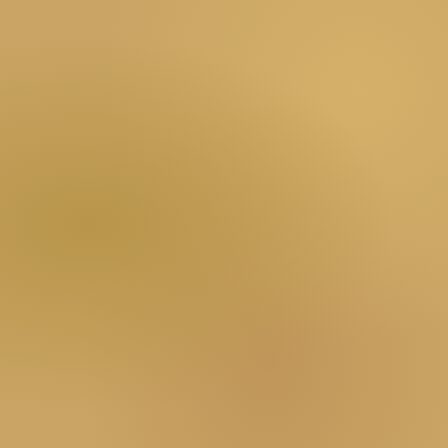| Term | Reference |
| --- | --- |
|  |  |
| Elderly |  |
| Enemy, your, an |  |
| Entire Community |  |
| Evil ones, the |  |